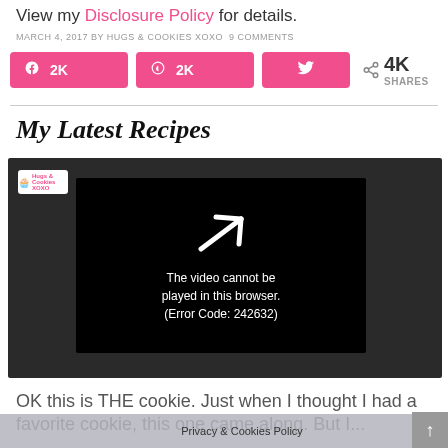View my Disclosure Policy for details.
MARCH 4, 2017 BY HUGS & COOKIES XOXO 9 COMMENTS
[Figure (screenshot): Social share buttons: Facebook 2K shares, Pinterest 2K shares, Twitter share button, and total 4K SHARES counter]
My Latest Recipes
[Figure (screenshot): Video player showing error: The video cannot be played in this browser. (Error Code: 242632). Has Hugs & Cookies XOXO logo in top left.]
OK this is THE cookie. Just when I thought I had a favorite cookie, this one came along. But I...
Privacy & Cookies Policy